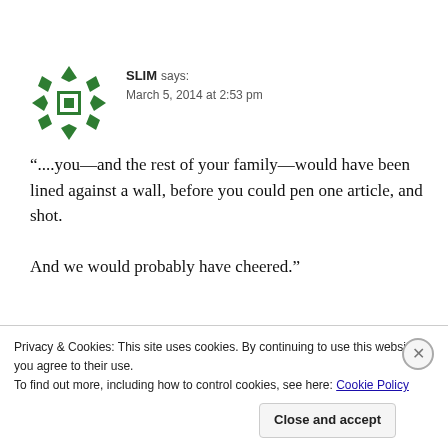[Figure (logo): Green snowflake/asterisk style avatar icon for user SLIM]
SLIM says:
March 5, 2014 at 2:53 pm
“....you—and the rest of your family—would have been lined against a wall, before you could pen one article, and shot.

And we would probably have cheered.”
Privacy & Cookies: This site uses cookies. By continuing to use this website, you agree to their use.
To find out more, including how to control cookies, see here: Cookie Policy
Close and accept